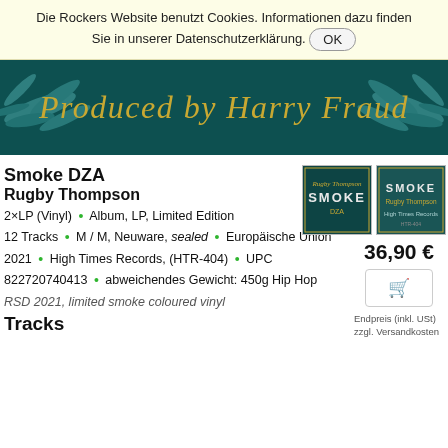Die Rockers Website benutzt Cookies. Informationen dazu finden Sie in unserer Datenschutzerklärung. OK
[Figure (illustration): Dark teal banner with gold cursive script text reading 'Produced by Harry Fraud', with decorative feather/leaf elements on left and right sides]
[Figure (photo): Two small thumbnail images of the Smoke DZA Rugby Thompson album vinyl record product, showing the album cover with dark teal background and 'SMOKE' text]
Smoke DZA
Rugby Thompson
2×LP (Vinyl) • Album, LP, Limited Edition
12 Tracks • M / M, Neuware, sealed • Europäische Union 2021 • High Times Records, (HTR-404) • UPC 822720740413 • abweichendes Gewicht: 450g Hip Hop
RSD 2021, limited smoke coloured vinyl
36,90 €
Endpreis (inkl. USt) zzgl. Versandkosten
Tracks